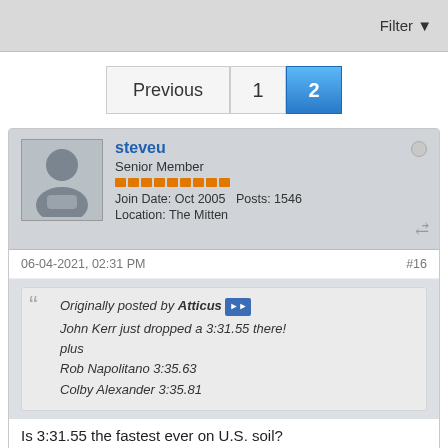Filter
Previous  1  2
steveu
Senior Member
Join Date: Oct 2005  Posts: 1546
Location: The Mitten
06-04-2021, 02:31 PM  #16
Originally posted by Atticus
John Kerr just dropped a 3:31.55 there!
plus
Rob Napolitano 3:35.63
Colby Alexander 3:35.81
Is 3:31.55 the fastest ever on U.S. soil?